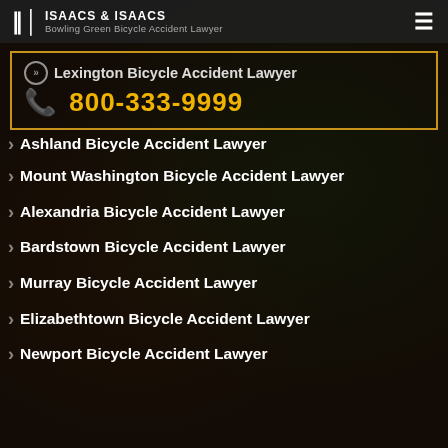ISAACS & ISAACS — Bowling Green Bicycle Accident Lawyer
Lexington Bicycle Accident Lawyer
📞 800-333-9999
Ashland Bicycle Accident Lawyer
Mount Washington Bicycle Accident Lawyer
Alexandria Bicycle Accident Lawyer
Bardstown Bicycle Accident Lawyer
Murray Bicycle Accident Lawyer
Elizabethtown Bicycle Accident Lawyer
Newport Bicycle Accident Lawyer